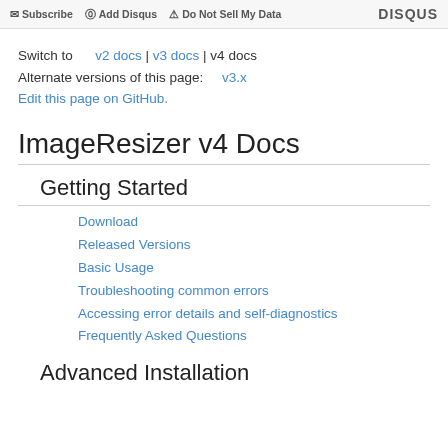Subscribe | Add Disqus | Do Not Sell My Data | DISQUS
Switch to   v2 docs | v3 docs | v4 docs
Alternate versions of this page:   v3.x
Edit this page on GitHub.
ImageResizer v4 Docs
Getting Started
Download
Released Versions
Basic Usage
Troubleshooting common errors
Accessing error details and self-diagnostics
Frequently Asked Questions
Advanced Installation